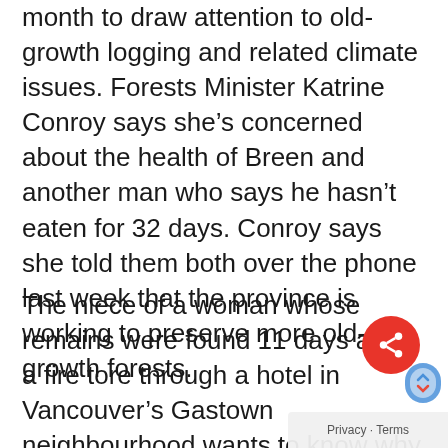month to draw attention to old-growth logging and related climate issues. Forests Minister Katrine Conroy says she's concerned about the health of Breen and another man who says he hasn't eaten for 32 days. Conroy says she told them both over the phone last week that the province is working to preserve more old-growth forests.
The niece of a woman whose remains were found 11 days after a fire tore through a hotel in Vancouver's Gastown neighbourhood wants to know why officials initially said all 71 people in the building had been accounted for. Misty Fredericks says there's also been no